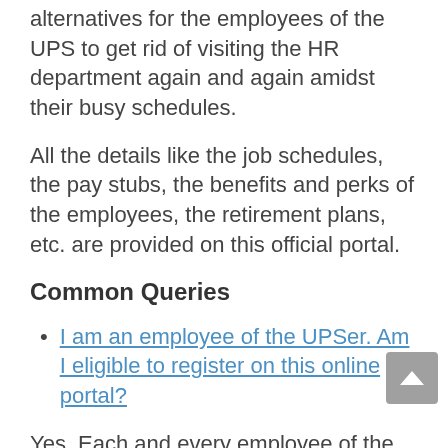alternatives for the employees of the UPS to get rid of visiting the HR department again and again amidst their busy schedules.
All the details like the job schedules, the pay stubs, the benefits and perks of the employees, the retirement plans, etc. are provided on this official portal.
Common Queries
I am an employee of the UPSer. Am I eligible to register on this online portal?
Yes, Each and every employee of the UPS are eligible and in fact, they are encouraged to register on this official portal.